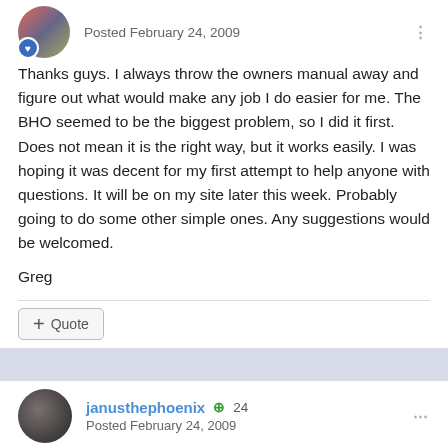Posted February 24, 2009
Thanks guys. I always throw the owners manual away and figure out what would make any job I do easier for me. The BHO seemed to be the biggest problem, so I did it first. Does not mean it is the right way, but it works easily. I was hoping it was decent for my first attempt to help anyone with questions. It will be on my site later this week. Probably going to do some other simple ones. Any suggestions would be welcomed.
Greg
janusthephoenix  +24
Posted February 24, 2009
Nice video, and will probably be a big help when I get to converting mine.